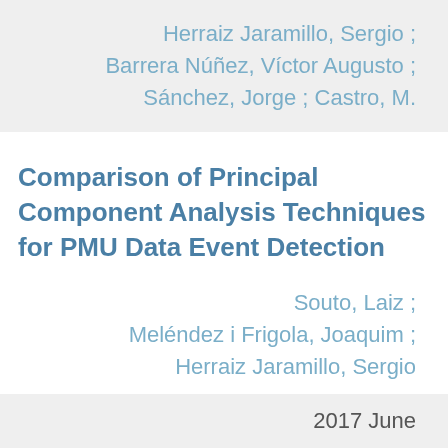Herraiz Jaramillo, Sergio ; Barrera Núñez, Víctor Augusto ; Sánchez, Jorge ; Castro, M.
Comparison of Principal Component Analysis Techniques for PMU Data Event Detection
Souto, Laiz ; Meléndez i Frigola, Joaquim ; Herraiz Jaramillo, Sergio
2017 June